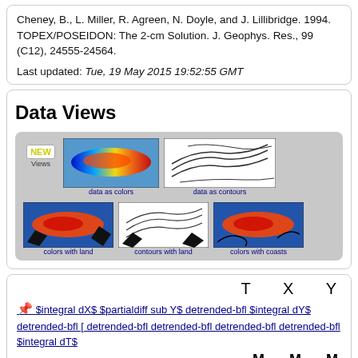Cheney, B., L. Miller, R. Agreen, N. Doyle, and J. Lillibridge. 1994. TOPEX/POSEIDON: The 2-cm Solution. J. Geophys. Res., 99 (C12), 24555-24564.
Last updated: Tue, 19 May 2015 19:52:55 GMT
Data Views
[Figure (screenshot): Data views panel showing 5 map thumbnails: 'data as colors' (color map), 'data as contours' (contour map), 'colors with land', 'contours with land', 'colors with coasts', plus a NEW Views badge]
T X Y
📌 $integral dX$ $partialdiff sub Y$ detrended-bfl $integral dY$ detrended-bfl [ detrended-bfl detrended-bfl detrended-bfl detrended-bfl $integral dT$
M M M